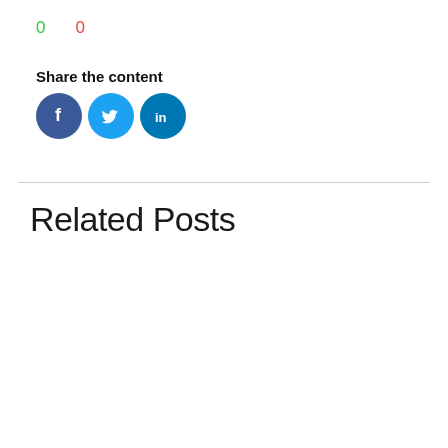0  0
Share the content
[Figure (illustration): Three social media share buttons: Facebook (dark blue circle with 'f'), Twitter (light blue circle with bird icon), LinkedIn (medium blue circle with 'in')]
Related Posts